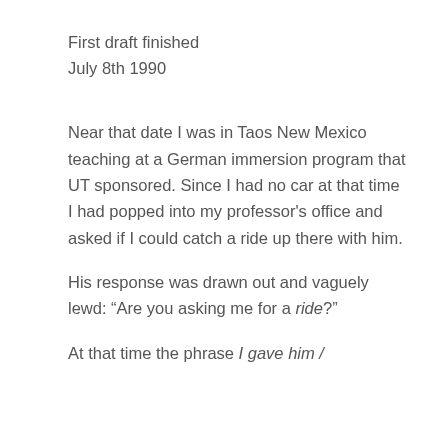First draft finished
July 8th 1990
Near that date I was in Taos New Mexico teaching at a German immersion program that UT sponsored. Since I had no car at that time I had popped into my professor's office and asked if I could catch a ride up there with him.
His response was drawn out and vaguely lewd: “Are you asking me for a ride?”
At that time the phrase I gave him /